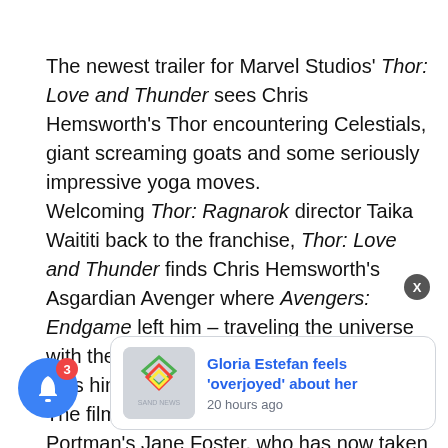The newest trailer for Marvel Studios' Thor: Love and Thunder sees Chris Hemsworth's Thor encountering Celestials, giant screaming goats and some seriously impressive yoga moves. Welcoming Thor: Ragnarok director Taika Waititi back to the franchise, Thor: Love and Thunder finds Chris Hemsworth's Asgardian Avenger where Avengers: Endgame left him – traveling the universe with the Guardians of the Galaxy as he gets himself back into superhero shape. The film also sees the return of Natalie Portman's Jane Foster, who has now taken on the power of Thor herself, …o be expe… Thunder promises a whole lot of zany fun in much the
[Figure (other): Blue notification bell button with red badge showing number 3, and a news card popup showing a logo for 'Sand News' and headline 'Gloria Estefan feels overjoyed about her' with timestamp '20 hours ago', and a close X button]